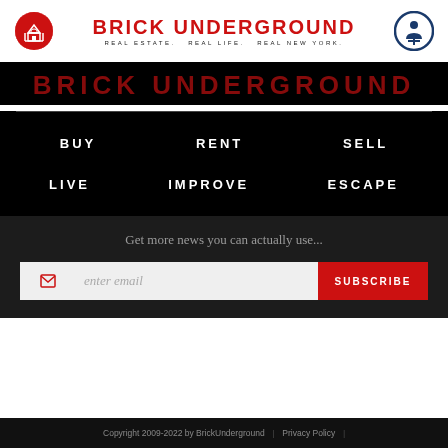[Figure (logo): Brick Underground logo - red house icon on left, BRICK UNDERGROUND title text in center with REAL ESTATE. REAL LIFE. REAL NEW YORK. subtitle, accessibility icon on right]
BRICK UNDERGROUND
BUY
RENT
SELL
LIVE
IMPROVE
ESCAPE
Get more news you can actually use...
enter email   SUBSCRIBE
Copyright 2009-2022 by BrickUnderground   |   Privacy Policy   |